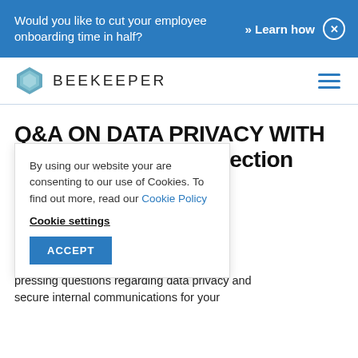Would you like to cut your employee onboarding time in half? » Learn how ×
[Figure (logo): Beekeeper hexagon logo with text BEEKEEPER]
Q&A ON DATA PRIVACY WITH
nta Protection
cer
By using our website your are consenting to our use of Cookies. To find out more, read our Cookie Policy
Cookie settings
ACCEPT
s data protection? Are a data privacy audit? In Beekeeper's own Data wers some of the most pressing questions regarding data privacy and secure internal communications for your